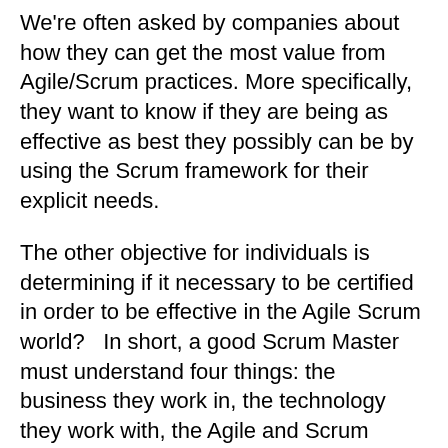We're often asked by companies about how they can get the most value from Agile/Scrum practices. More specifically, they want to know if they are being as effective as best they possibly can be by using the Scrum framework for their explicit needs.
The other objective for individuals is determining if it necessary to be certified in order to be effective in the Agile Scrum world?   In short, a good Scrum Master must understand four things: the business they work in, the technology they work with, the Agile and Scrum principles, and, most importantly, people!  Based on these facts, Scrum Master Certification is not enough – real life experience and a bit of soft skills should be part and parcel of their training. For organizations, the main goal is to